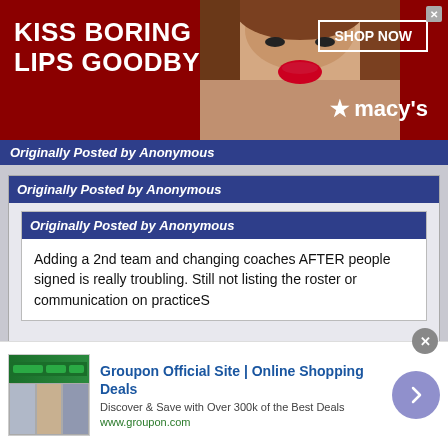[Figure (screenshot): Top advertisement banner: dark red background with text 'KISS BORING LIPS GOODBYE', photo of woman with red lips, 'SHOP NOW' button, Macy's star logo]
Originally Posted by Anonymous
Originally Posted by Anonymous
Adding a 2nd team and changing coaches AFTER people signed is really troubling. Still not listing the roster or communication on practiceS
Took them weeks and weeks to post any of the completed tryout rosters. Wouldn't expect to see them until maybe week of the tourney. Also highly doubt there will be practices.
[Figure (screenshot): Bottom advertisement: Groupon Official Site | Online Shopping Deals. Discover & Save with Over 300k of the Best Deals. www.groupon.com]